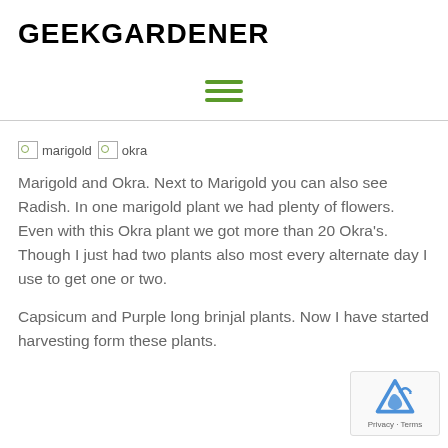GEEKGARDENER
[Figure (other): Hamburger menu icon with three green horizontal lines]
[Figure (photo): Two broken image placeholders labeled 'marigold' and 'okra']
Marigold and Okra. Next to Marigold you can also see Radish. In one marigold plant we had plenty of flowers. Even with this Okra plant we got more than 20 Okra's. Though I just had two plants also most every alternate day I use to get one or two.
Capsicum and Purple long brinjal plants. Now I have started harvesting form these plants.